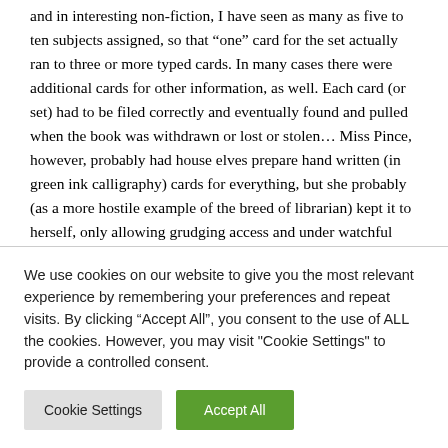and in interesting non-fiction, I have seen as many as five to ten subjects assigned, so that “one” card for the set actually ran to three or more typed cards. In many cases there were additional cards for other information, as well. Each card (or set) had to be filed correctly and eventually found and pulled when the book was withdrawn or lost or stolen… Miss Pince, however, probably had house elves prepare hand written (in green ink calligraphy) cards for everything, but she probably (as a more hostile example of the breed of librarian) kept it to herself, only allowing grudging access and under watchful eyes! Not many of us have that attitude in real life, although I
We use cookies on our website to give you the most relevant experience by remembering your preferences and repeat visits. By clicking “Accept All”, you consent to the use of ALL the cookies. However, you may visit "Cookie Settings" to provide a controlled consent.